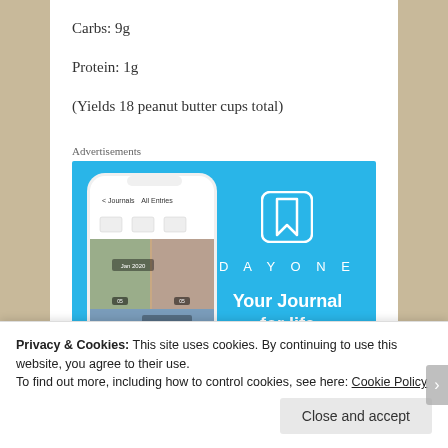Carbs: 9g
Protein: 1g
(Yields 18 peanut butter cups total)
Advertisements
[Figure (screenshot): DayOne app advertisement showing a smartphone with the DayOne journal app open, displaying photo entries dated Jan 2020. The right side shows the DayOne logo icon, the text 'DAYONE' in letter-spaced white text, and the tagline 'Your Journal for life' on a sky-blue background.]
Privacy & Cookies: This site uses cookies. By continuing to use this website, you agree to their use.
To find out more, including how to control cookies, see here: Cookie Policy
Close and accept